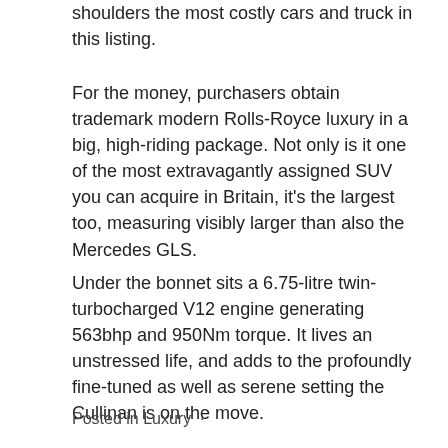shoulders the most costly cars and truck in this listing.
For the money, purchasers obtain trademark modern Rolls-Royce luxury in a big, high-riding package. Not only is it one of the most extravagantly assigned SUV you can acquire in Britain, it's the largest too, measuring visibly larger than also the Mercedes GLS.
Under the bonnet sits a 6.75-litre twin-turbocharged V12 engine generating 563bhp and 950Nm torque. It lives an unstressed life, and adds to the profoundly fine-tuned as well as serene setting the Cullinan is on the move.
Posted in Luxury  ·